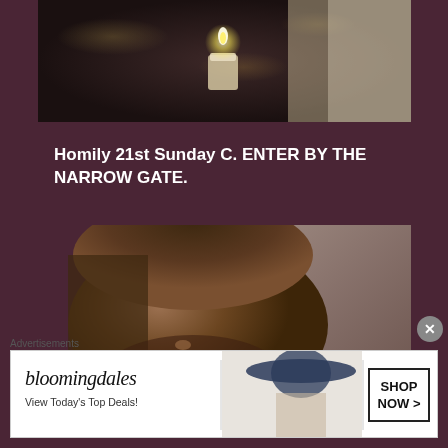[Figure (photo): Person holding a candle in a dark setting with bokeh background lighting]
Homily 21st Sunday C. ENTER BY THE NARROW GATE.
[Figure (photo): Close-up of a man with long hair and beard looking downward, with decorative background]
Advertisements
[Figure (other): Bloomingdales advertisement banner — 'View Today's Top Deals!' with 'SHOP NOW >' button and woman in hat]